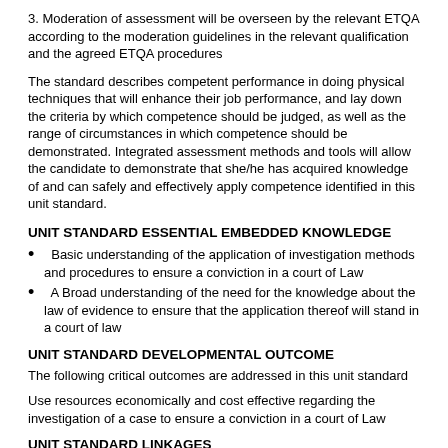3. Moderation of assessment will be overseen by the relevant ETQA according to the moderation guidelines in the relevant qualification and the agreed ETQA procedures
The standard describes competent performance in doing physical techniques that will enhance their job performance, and lay down the criteria by which competence should be judged, as well as the range of circumstances in which competence should be demonstrated. Integrated assessment methods and tools will allow the candidate to demonstrate that she/he has acquired knowledge of and can safely and effectively apply competence identified in this unit standard.
UNIT STANDARD ESSENTIAL EMBEDDED KNOWLEDGE
Basic understanding of the application of investigation methods and procedures to ensure a conviction in a court of Law
A Broad understanding of the need for the knowledge about the law of evidence to ensure that the application thereof will stand in a court of law
UNIT STANDARD DEVELOPMENTAL OUTCOME
The following critical outcomes are addressed in this unit standard
Use resources economically and cost effective regarding the investigation of a case to ensure a conviction in a court of Law
UNIT STANDARD LINKAGES
N/A
Critical Cross-field Outcomes (CCFO):